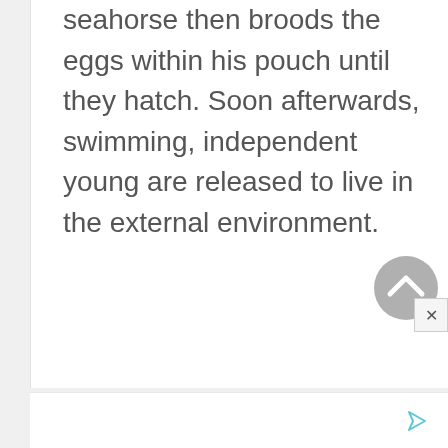seahorse then broods the eggs within his pouch until they hatch. Soon afterwards, swimming, independent young are released to live in the external environment.